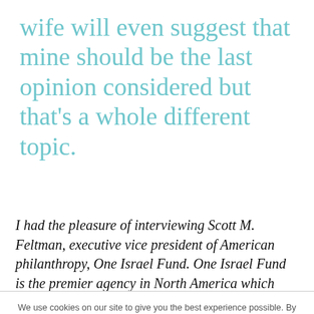wife will even suggest that mine should be the last opinion considered but that's a whole different topic.
I had the pleasure of interviewing Scott M. Feltman, executive vice president of American philanthropy, One Israel Fund. One Israel Fund is the premier agency in North America which raises funds and provides humanitarian
We use cookies on our site to give you the best experience possible. By continuing to browse the site, you agree to this use. For more information on how we use cookies, see our Privacy Policy.
CONTINUE